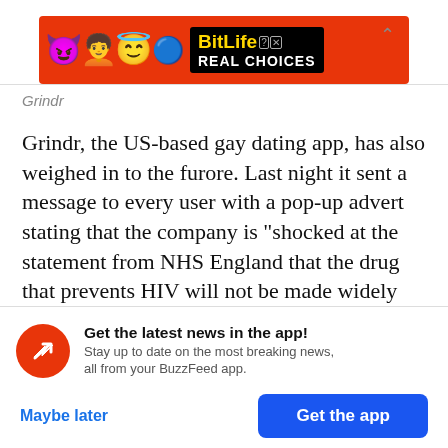[Figure (screenshot): BitLife app advertisement banner with emoji characters (devil, person with arms up, smiling face with halo) and sperm emoji on red background, with BitLife logo and 'REAL CHOICES' text]
Grindr
Grindr, the US-based gay dating app, has also weighed in to the furore. Last night it sent a message to every user with a pop-up advert stating that the company is "shocked at the statement from NHS England that the drug that prevents HIV will not be made widely available" and linked to the
[Figure (screenshot): BuzzFeed app notification prompt: red circle icon with white trending arrow, 'Get the latest news in the app!' heading, 'Stay up to date on the most breaking news, all from your BuzzFeed app.' subtext, with 'Maybe later' and 'Get the app' buttons]